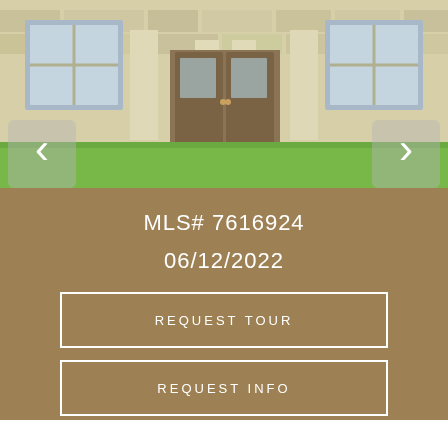[Figure (photo): Exterior photo of a stone house with dark wood double front doors, green lawn, and navigation arrows on left and right sides]
MLS# 7616924
06/12/2022
REQUEST TOUR
REQUEST INFO
Presented By: All City Real Estate Ltd. Co